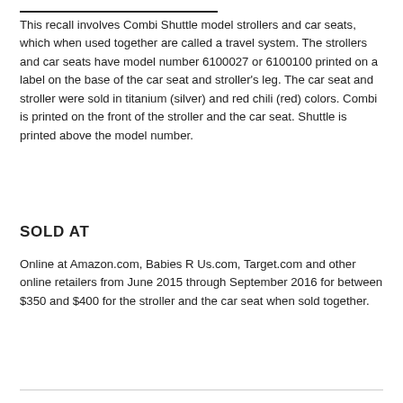This recall involves Combi Shuttle model strollers and car seats, which when used together are called a travel system. The strollers and car seats have model number 6100027 or 6100100 printed on a label on the base of the car seat and stroller's leg. The car seat and stroller were sold in titanium (silver) and red chili (red) colors. Combi is printed on the front of the stroller and the car seat. Shuttle is printed above the model number.
SOLD AT
Online at Amazon.com, Babies R Us.com, Target.com and other online retailers from June 2015 through September 2016 for between $350 and $400 for the stroller and the car seat when sold together.